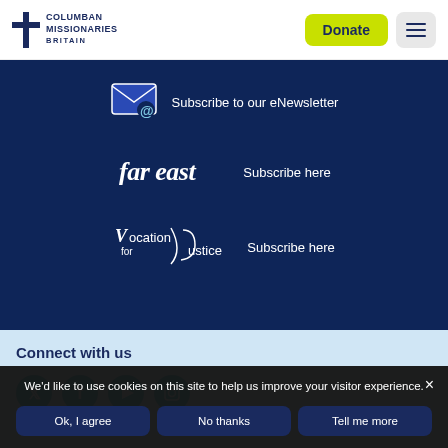[Figure (logo): Columban Missionaries Britain logo with cross icon and text]
Donate
[Figure (illustration): Hamburger menu icon (three horizontal lines)]
[Figure (illustration): Email icon with @ symbol - Subscribe to our eNewsletter]
Subscribe to our eNewsletter
[Figure (logo): Far East magazine logo in stylized italic white text]
Subscribe here
[Figure (logo): Vocation for Justice logo in stylized white text]
Subscribe here
Connect with us
[Figure (illustration): Four social media icons (Twitter, Facebook, YouTube, Instagram) in teal circles]
We'd like to use cookies on this site to help us improve your visitor experience.
Ok, I agree
No thanks
Tell me more